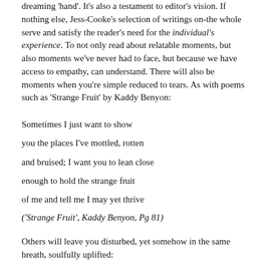dreaming 'hand'. It's also a testament to editor's vision. If nothing else, Jess-Cooke's selection of writings on-the whole serve and satisfy the reader's need for the individual's experience. To not only read about relatable moments, but also moments we've never had to face, but because we have access to empathy, can understand. There will also be moments when you're simple reduced to tears. As with poems such as 'Strange Fruit' by Kaddy Benyon:
Sometimes I just want to show
you the places I've mottled, rotten
and bruised; I want you to lean close
enough to hold the strange fruit
of me and tell me I may yet thrive
('Strange Fruit', Kaddy Benyon, Pg 81)
Others will leave you disturbed, yet somehow in the same breath, soulfully uplifted:
The Mud Man whispers to me in a dead language.
Noli timere, he hisses. But I am afraid.